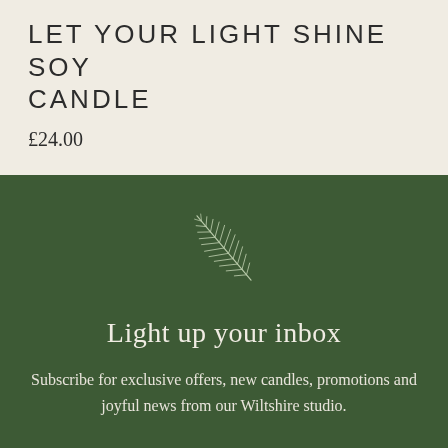LET YOUR LIGHT SHINE SOY CANDLE
£24.00
[Figure (illustration): A delicate white line-drawn feather/pine leaf illustration on a dark green background]
Light up your inbox
Subscribe for exclusive offers, new candles, promotions and joyful news from our Wiltshire studio.